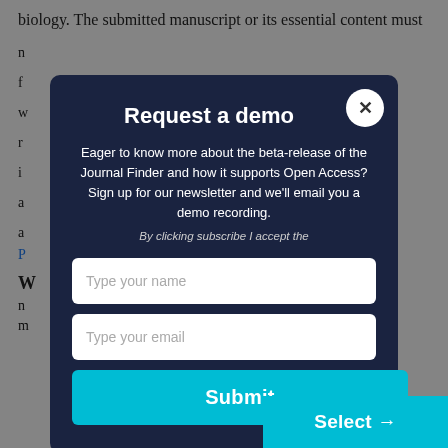biology. The submitted manuscript or its essential content must
n...
f...
w...
r... i... a... a...
P...
W...
n... m...
[Figure (screenshot): A modal dialog overlay titled 'Request a demo' with a dark navy background. Contains descriptive text about the Journal Finder beta-release and Open Access newsletter, a privacy notice, two input fields ('Type your name' and 'Type your email'), and a cyan 'Submit' button. A white close button (X) is in the top-right corner.]
Select →